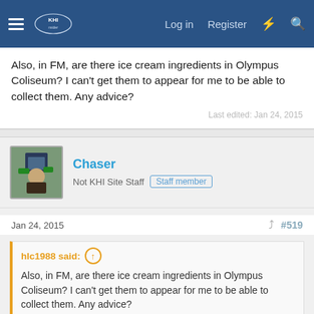KHInsider forum header with Log in, Register navigation
Also, in FM, are there ice cream ingredients in Olympus Coliseum? I can't get them to appear for me to be able to collect them. Any advice?
Last edited: Jan 24, 2015
Chaser
Not KHI Site Staff  Staff member
Jan 24, 2015   #519
hlc1988 said:
Also, in FM, are there ice cream ingredients in Olympus Coliseum? I can't get them to appear for me to be able to collect them. Any advice?
When you enter the Thebes like area, they're in the back left corner.